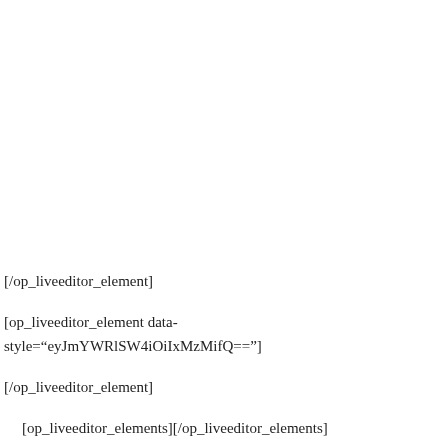[/op_liveeditor_element]
[op_liveeditor_element data-style="eyJmYWRlSW4iOiIxMzMifQ=="]
[/op_liveeditor_element]
[op_liveeditor_elements][/op_liveeditor_elements]